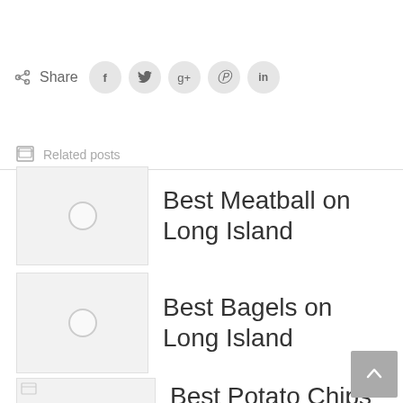[Figure (screenshot): Share bar with social media icons: Share label, Facebook (f), Twitter (bird), Google+ (g+), Pinterest (P), LinkedIn (in) buttons as circular grey buttons]
Related posts
Best Meatball on Long Island
Best Bagels on Long Island
Best Potato Chips on